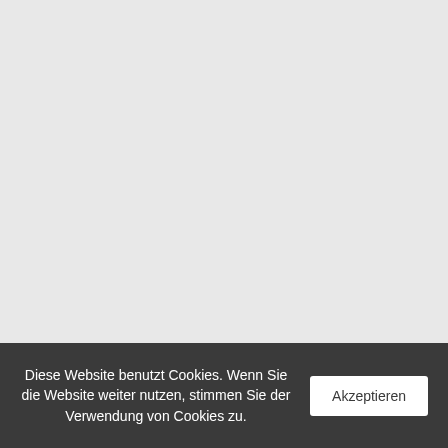Diese Website benutzt Cookies. Wenn Sie die Website weiter nutzen, stimmen Sie der Verwendung von Cookies zu.  Akzeptieren